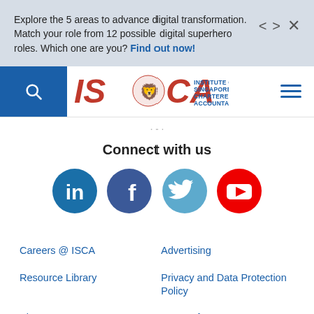Explore the 5 areas to advance digital transformation. Match your role from 12 possible digital superhero roles. Which one are you? Find out now!
[Figure (logo): ISCA - Institute of Singapore Chartered Accountants logo with lion icon]
Connect with us
[Figure (infographic): Social media icons: LinkedIn (blue circle with 'in'), Facebook (dark blue circle with 'f'), Twitter (light blue circle with bird), YouTube (red circle with play button)]
Careers @ ISCA
Advertising
Resource Library
Privacy and Data Protection Policy
About Us
Terms of Use
Member Directory